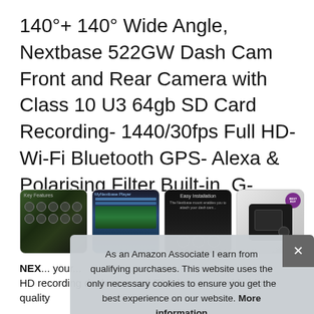140°+ 140° Wide Angle, Nextbase 522GW Dash Cam Front and Rear Camera with Class 10 U3 64gb SD Card Recording- 1440/30fps Full HD- Wi-Fi Bluetooth GPS- Alexa & Polarising Filter Built-in, G-Sensor
[Figure (photo): Row of four product thumbnail images: 1) Dark interior/features screen, 2) MyNextbase Player app screenshot with map, 3) Easy Installation dark background, 4) Nextbase 522GW camera product photo]
NEX... your... HD recording dash cam and F1.6 lens to provide high quality
As an Amazon Associate I earn from qualifying purchases. This website uses the only necessary cookies to ensure you get the best experience on our website. More information